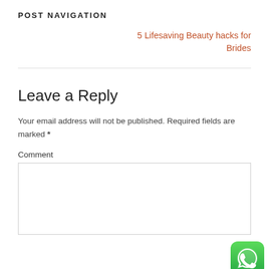POST NAVIGATION
5 Lifesaving Beauty hacks for Brides
Leave a Reply
Your email address will not be published. Required fields are marked *
Comment
[Figure (logo): WhatsApp logo button — green rounded square with white phone/chat icon]